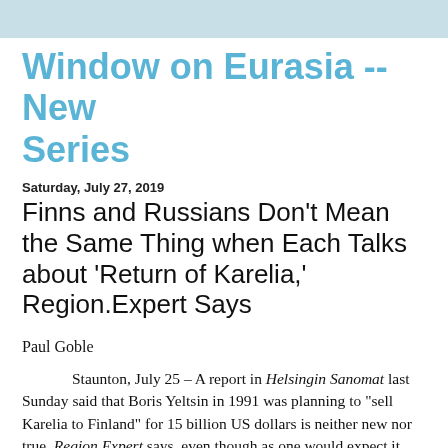Window on Eurasia -- New Series
Saturday, July 27, 2019
Finns and Russians Don't Mean the Same Thing when Each Talks about 'Return of Karelia,' Region.Expert Says
Paul Goble
Staunton, July 25 – A report in Helsingin Sanomat last Sunday said that Boris Yeltsin in 1991 was planning to "sell Karelia to Finland" for 15 billion US dollars is neither new nor true, Region.Expert says, even though as one would expect it touched off the latest media denunciations of the first Russian president and "the wild 1990s."